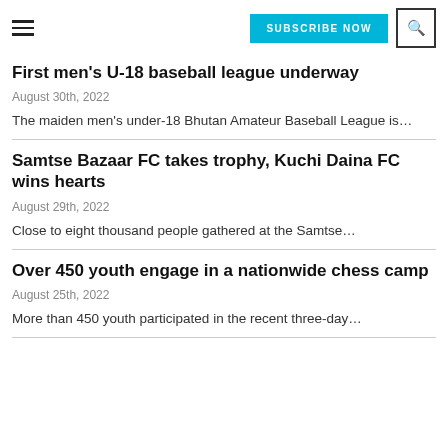SUBSCRIBE NOW
First men's U-18 baseball league underway
August 30th, 2022
The maiden men's under-18 Bhutan Amateur Baseball League is…
Samtse Bazaar FC takes trophy, Kuchi Daina FC wins hearts
August 29th, 2022
Close to eight thousand people gathered at the Samtse…
Over 450 youth engage in a nationwide chess camp
August 25th, 2022
More than 450 youth participated in the recent three-day…